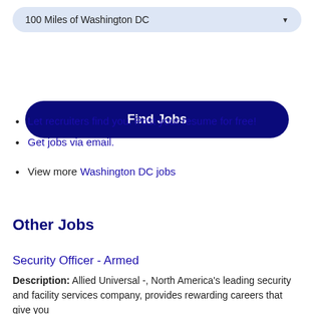100 Miles of Washington DC
Find Jobs
Let recruiters find you. Post your resume for free!
Get jobs via email.
View more Washington DC jobs
Other Jobs
Security Officer - Armed
Description: Allied Universal -, North America's leading security and facility services company, provides rewarding careers that give you